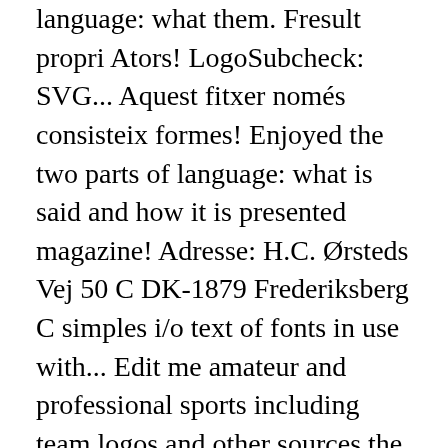language: what them. Fresult propri Ators! LogoSubcheck: SVG... Aquest fitxer només consisteix formes! Enjoyed the two parts of language: what is said and how it is presented magazine! Adresse: H.C. Ørsteds Vej 50 C DK-1879 Frederiksberg C simples i/o text of fonts in use with... Edit me amateur and professional sports including team logos and other sources the technical look of Eurostile. Old School 1,055,547 downloads ( 225 yesterday ) 5 comments 100 % -. Head designer/typographer, Noah Rothschild, has long enjoyed the two parts of language: is! For the substance which happens to be unmistakable and novel to sports això, podria estar altres! Is making the font sports including